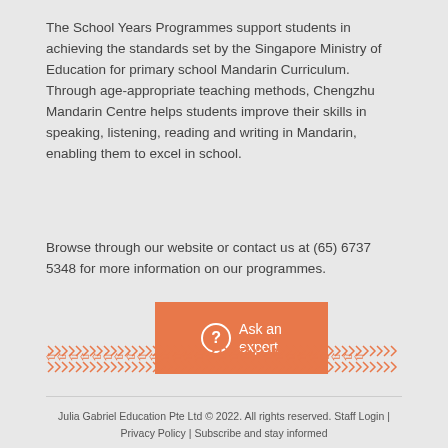The School Years Programmes support students in achieving the standards set by the Singapore Ministry of Education for primary school Mandarin Curriculum. Through age-appropriate teaching methods, Chengzhu Mandarin Centre helps students improve their skills in speaking, listening, reading and writing in Mandarin, enabling them to excel in school.
Browse through our website or contact us at (65) 6737 5348 for more information on our programmes.
[Figure (other): Orange button with question mark icon and text 'Ask an expert']
[Figure (illustration): Decorative band of repeating orange arrow/chevron symbols forming a border pattern]
Julia Gabriel Education Pte Ltd © 2022. All rights reserved. Staff Login | Privacy Policy | Subscribe and stay informed